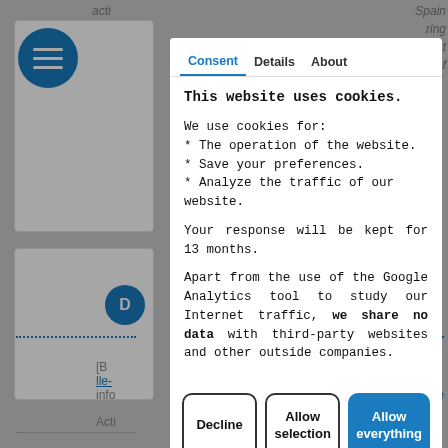[Figure (screenshot): Cookie consent modal dialog overlaid on a webpage. The modal has three tabs: Consent (active, in blue), Details, and About. The modal title reads 'This website uses cookies.' followed by body text explaining cookie usage and data sharing policy. Three buttons at the bottom: Decline (outline), Allow selection (outline), Allow everything (filled blue).]
This website uses cookies.
We use cookies for:
* The operation of the website.
* Save your preferences.
* Analyze the traffic of our website.
Your response will be kept for 13 months.
Apart from the use of the Google Analytics tool to study our Internet traffic, we share no data with third-party websites and other outside companies.